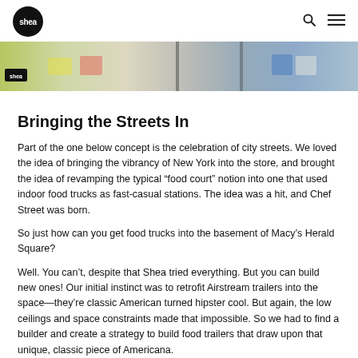shea [logo] [search icon] [menu icon]
[Figure (photo): Interior photo of a food court or restaurant space with colorful chairs and tables, bright lighting, and a 'shea' logo visible in the lower left corner.]
Bringing the Streets In
Part of the one below concept is the celebration of city streets. We loved the idea of bringing the vibrancy of New York into the store, and brought the idea of revamping the typical “food court” notion into one that used indoor food trucks as fast-casual stations. The idea was a hit, and Chef Street was born.
So just how can you get food trucks into the basement of Macy’s Herald Square?
Well. You can’t, despite that Shea tried everything. But you can build new ones! Our initial instinct was to retrofit Airstream trailers into the space—they’re classic American turned hipster cool. But again, the low ceilings and space constraints made that impossible. So we had to find a builder and create a strategy to build food trailers that draw upon that unique, classic piece of Americana.